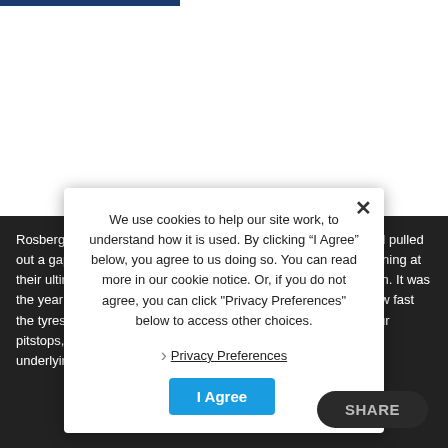Rosberg did not get the best of starts but held on to his lead and pulled out a gap from teammate Hamilton. The Mercedes were not running at their ultimate pace as they were trying to nurse the tyres early on. It was the year that Pirelli faced a significant amount of criticism for how fast the tyres degraded – Silverstone featured some cars making four pitstops, and no one wanted to stop regularly. The reality is the underlying pace of the...
We use cookies to help our site work, to understand how it is used. By clicking “I Agree” below, you agree to us doing so. You can read more in our cookie notice. Or, if you do not agree, you can click "Privacy Preferences" below to access other choices.
Privacy Preferences
I Agree
SHARE